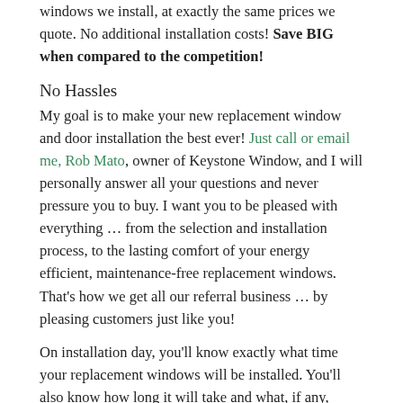windows we install, at exactly the same prices we quote. No additional installation costs! Save BIG when compared to the competition!
No Hassles
My goal is to make your new replacement window and door installation the best ever! Just call or email me, Rob Mato, owner of Keystone Window, and I will personally answer all your questions and never pressure you to buy. I want you to be pleased with everything … from the selection and installation process, to the lasting comfort of your energy efficient, maintenance-free replacement windows. That's how we get all our referral business … by pleasing customers just like you!
On installation day, you'll know exactly what time your replacement windows will be installed. You'll also know how long it will take and what, if any, precautions need to be taken. Our factory direct